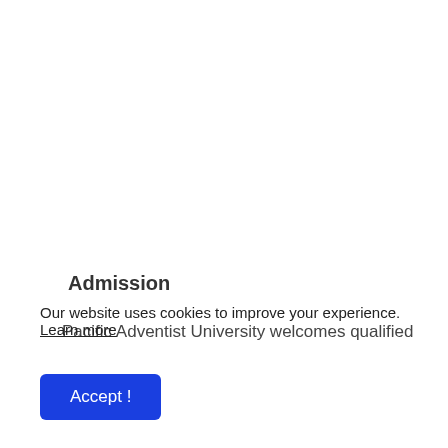Admission
Pacific Adventist University welcomes qualified
Our website uses cookies to improve your experience. Learn more
Accept !